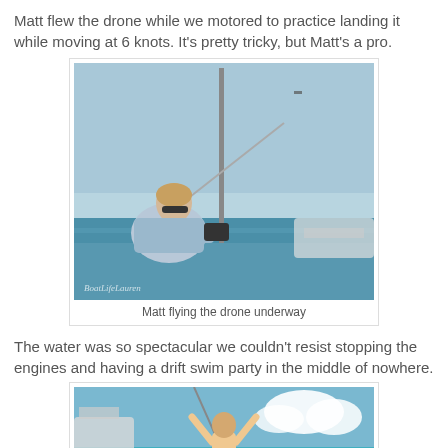Matt flew the drone while we motored to practice landing it while moving at 6 knots. It's pretty tricky, but Matt's a pro.
[Figure (photo): Person on a sailboat deck holding a drone controller, looking out over calm blue water with a mast and rigging visible. Watermark reads BoatLifeLauren.]
Matt flying the drone underway
The water was so spectacular we couldn't resist stopping the engines and having a drift swim party in the middle of nowhere.
[Figure (photo): Person standing on a sailboat with arms raised, turquoise water and blue sky with clouds in the background.]